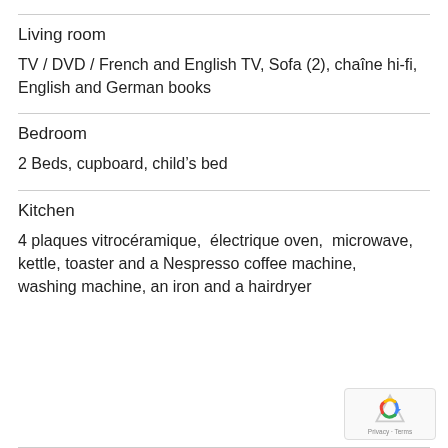Living room
TV / DVD / French and English TV, Sofa (2), chaîne hi-fi, English and German books
Bedroom
2 Beds, cupboard, child's bed
Kitchen
4 plaques vitrocéramique,  électrique oven,  microwave, kettle, toaster and a Nespresso coffee machine, washing machine, an iron and a hairdryer